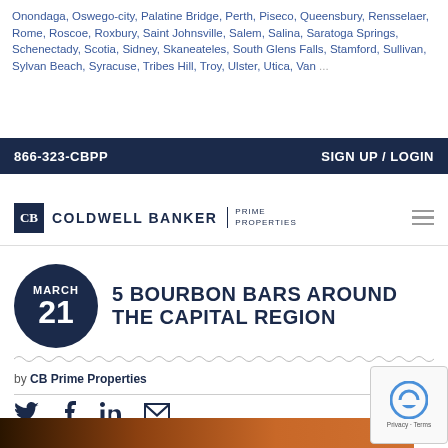Onondaga, Oswego-city, Palatine Bridge, Perth, Piseco, Queensbury, Rensselaer, Rome, Roscoe, Roxbury, Saint Johnsville, Salem, Salina, Saratoga Springs, Schenectady, Scotia, Sidney, Skaneateles, South Glens Falls, Stamford, Sullivan, Sylvan Beach, Syracuse, Tribes Hill, Troy, Ulster, Utica, Van ...
866-323-CBPP   SIGN UP / LOGIN
[Figure (logo): Coldwell Banker Prime Properties logo with CB icon and hamburger menu]
5 BOURBON BARS AROUND THE CAPITAL REGION
by CB Prime Properties
[Figure (infographic): Social sharing icons: Twitter, Facebook, LinkedIn, Email]
[Figure (photo): Partial bottom image showing warm orange/brown tones, likely a bar scene]